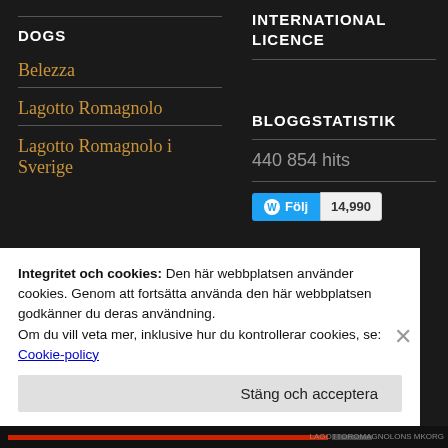INTERNATIONAL LICENCE
DOGS
Belezza
Lagotto Romagnolo
Lagotto Romagnolo i Sverige
BLOGGSTATISTIK
440 854 hits
Följ 14,990
Integritet och cookies: Den här webbplatsen använder cookies. Genom att fortsätta använda den här webbplatsen godkänner du deras användning. Om du vill veta mer, inklusive hur du kontrollerar cookies, se: Cookie-policy
Stäng och acceptera